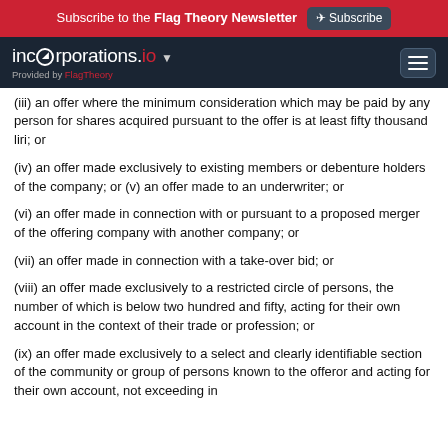Subscribe to the Flag Theory Newsletter Subscribe
incorporations.io ▼ Provided by FlagTheory
(iii) an offer where the minimum consideration which may be paid by any person for shares acquired pursuant to the offer is at least fifty thousand liri; or
(iv) an offer made exclusively to existing members or debenture holders of the company; or (v) an offer made to an underwriter; or
(vi) an offer made in connection with or pursuant to a proposed merger of the offering company with another company; or
(vii) an offer made in connection with a take-over bid; or
(viii) an offer made exclusively to a restricted circle of persons, the number of which is below two hundred and fifty, acting for their own account in the context of their trade or profession; or
(ix) an offer made exclusively to a select and clearly identifiable section of the community or group of persons known to the offeror and acting for their own account, not exceeding in